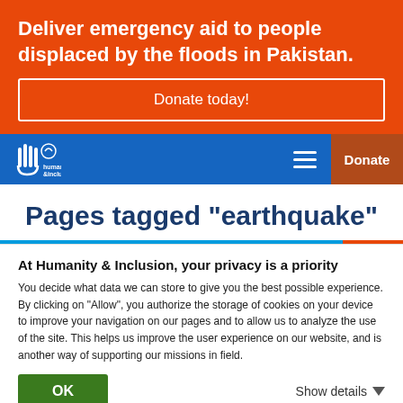Deliver emergency aid to people displaced by the floods in Pakistan.
Donate today!
[Figure (logo): Humanity & Inclusion (Hi) logo on blue navigation bar with hamburger menu icon]
Donate
Pages tagged "earthquake"
At Humanity & Inclusion, your privacy is a priority
You decide what data we can store to give you the best possible experience. By clicking on "Allow", you authorize the storage of cookies on your device to improve your navigation on our pages and to allow us to analyze the use of the site. This helps us improve the user experience on our website, and is another way of supporting our missions in field.
OK
Show details